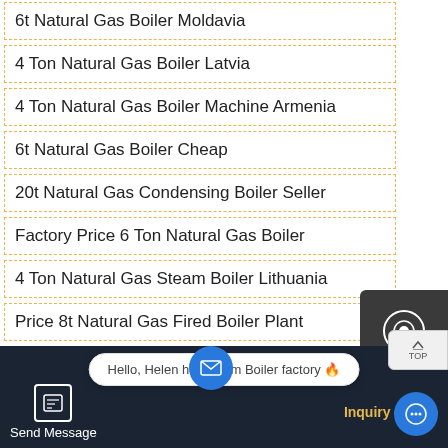6t Natural Gas Boiler Moldavia
4 Ton Natural Gas Boiler Latvia
4 Ton Natural Gas Boiler Machine Armenia
6t Natural Gas Boiler Cheap
20t Natural Gas Condensing Boiler Seller
Factory Price 6 Ton Natural Gas Boiler
4 Ton Natural Gas Steam Boiler Lithuania
Price 8t Natural Gas Fired Boiler Plant
Agent 10 Ton Natural Gas Boiler Ukraine
Hello, Helen here, from Boiler factory 🔥
Send Message
Inquiry Online